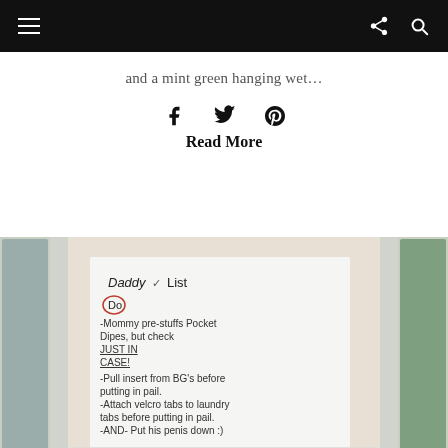Navigation bar with hamburger menu, share icon, and search icon
and a mint green hanging wet…
[Figure (infographic): Social media sharing icons: Facebook (f), Twitter (bird), Pinterest (P)]
Read More
[Figure (photo): Photo of a note taped to a window listing 'Daddy List' with Do and Don't sections. Do: -Mommy pre-stuffs Pocket Dipes, but check JUST IN CASE! -Pull insert from BG's before putting in pail. -Attach velcro tabs to laundry tabs before putting in pail. -AND- Put his penis down :) Don't: -Leave wipes open. -Get velcro in the poop.]